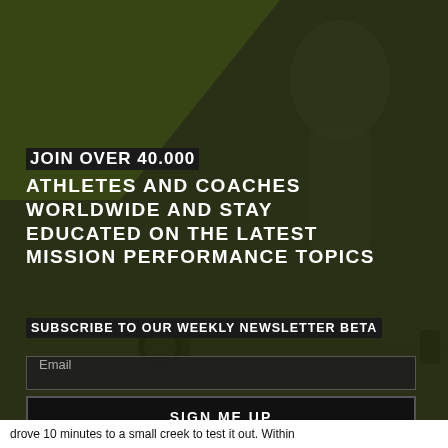[Figure (photo): Black and white gym background photo showing athlete with barbells and weights, overlaid with dark olive/green gradient tint]
JOIN OVER 40.000 ATHLETES AND COACHES WORLDWIDE AND STAY EDUCATED ON THE LATEST MISSION PERFORMANCE TOPICS
SUBSCRIBE TO OUR WEEKLY NEWSLETTER BETA
Email
SIGN ME UP
drove 10 minutes to a small creek to test it out. Within